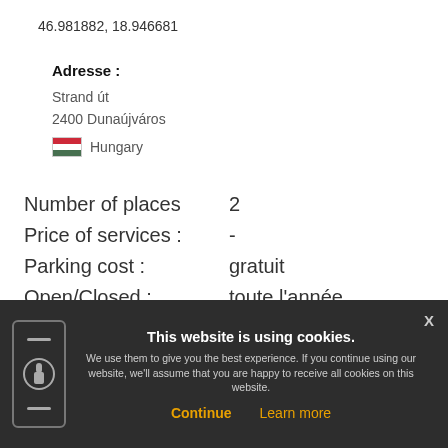46.981882, 18.946681
Adresse :
Strand út
2400 Dunaújváros
Hungary
Number of places    2
Price of services :    -
Parking cost :    gratuit
Open/Closed :    toute l'année
This website is using cookies. We use them to give you the best experience. If you continue using our website, we'll assume that you are happy to receive all cookies on this website.